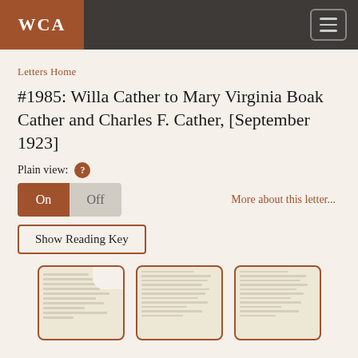WCA
Letters Home
#1985: Willa Cather to Mary Virginia Boak Cather and Charles F. Cather, [September 1923]
Plain view: ?
On  Off
More about this letter...
Show Reading Key
[Figure (photo): Three thumbnail images of handwritten letter pages, each shown in a rounded card with a reddish-brown border.]